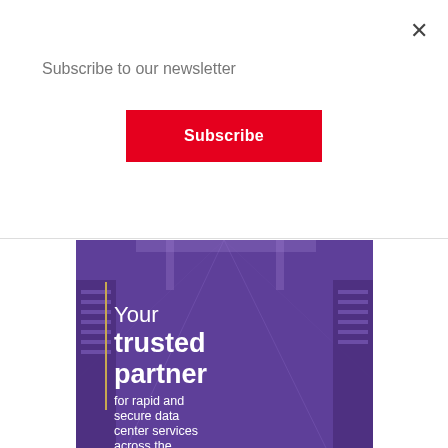Subscribe to our newsletter
Subscribe
[Figure (illustration): Purple-tinted data center server room image with overlay text: 'Your trusted partner for rapid and secure data center services across the']
Your trusted partner for rapid and secure data center services across the